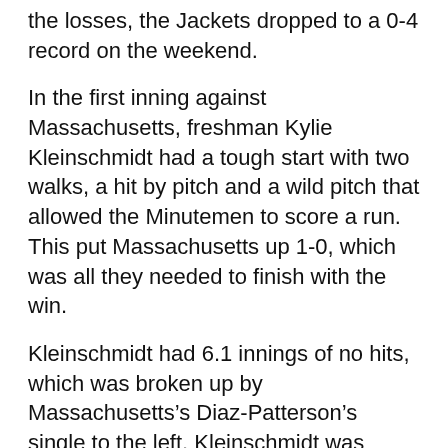the losses, the Jackets dropped to a 0-4 record on the weekend.
In the first inning against Massachusetts, freshman Kylie Kleinschmidt had a tough start with two walks, a hit by pitch and a wild pitch that allowed the Minutemen to score a run. This put Massachusetts up 1-0, which was all they needed to finish with the win.
Kleinschmidt had 6.1 innings of no hits, which was broken up by Massachusetts’s Diaz-Patterson’s single to the left. Kleinschmidt was strong on the mound with her first career start, recording nine strikeouts, the most of any Tech pitcher this season.
In the second game of the day, the Mississippi State Bulldogs were the first to strike in the game. With the bases loaded in the first inning, a Mississippi State single up the middle led to the first run. Tech senior Caroline Hilton mishandled a ball that allowed a Bulldog